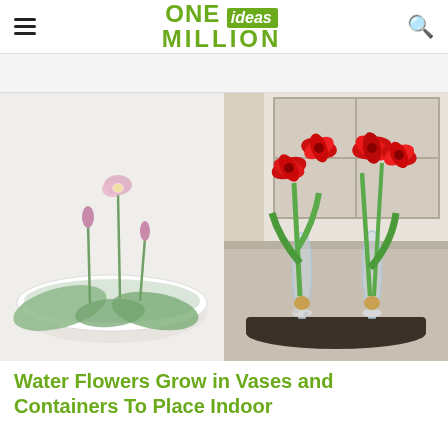ONE ideas MILLION
[Figure (photo): Left: lotus flowers with pink blooms and large round leaves in a white bowl with water. Right: red amaryllis flowers growing in glass vases with pebbles, placed on a dark tray near a window.]
Water Flowers Grow in Vases and Containers To Place Indoor